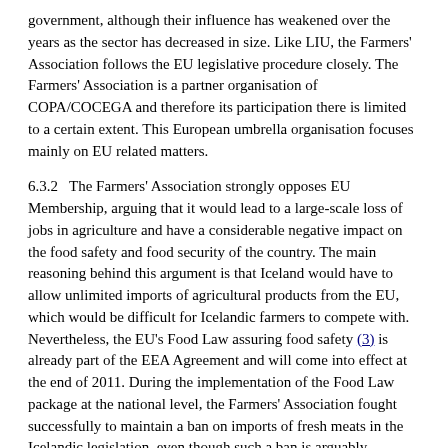government, although their influence has weakened over the years as the sector has decreased in size. Like LIU, the Farmers' Association follows the EU legislative procedure closely. The Farmers' Association is a partner organisation of COPA/COCEGA and therefore its participation there is limited to a certain extent. This European umbrella organisation focuses mainly on EU related matters.
6.3.2   The Farmers' Association strongly opposes EU Membership, arguing that it would lead to a large-scale loss of jobs in agriculture and have a considerable negative impact on the food safety and food security of the country. The main reasoning behind this argument is that Iceland would have to allow unlimited imports of agricultural products from the EU, which would be difficult for Icelandic farmers to compete with. Nevertheless, the EU's Food Law assuring food safety (3) is already part of the EEA Agreement and will come into effect at the end of 2011. During the implementation of the Food Law package at the national level, the Farmers' Association fought successfully to maintain a ban on imports of fresh meats in the Icelandic legislation, even though such a ban is arguably inconsistent with the aims of the EU legislation. Under Article 19 of the EEA Agreement, Iceland has also agreed on tariff free quotas and concessions for specific products, which is a concern for the Farmers' Association.